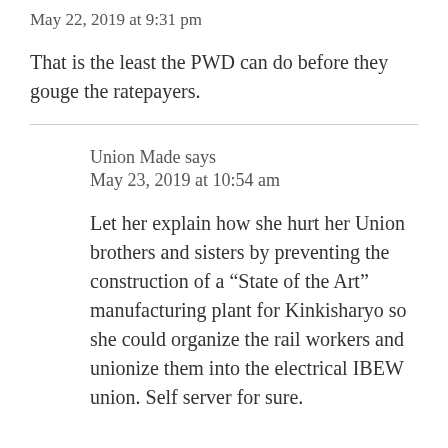May 22, 2019 at 9:31 pm
That is the least the PWD can do before they gouge the ratepayers.
Union Made says
May 23, 2019 at 10:54 am
Let her explain how she hurt her Union brothers and sisters by preventing the construction of a “State of the Art” manufacturing plant for Kinkisharyo so she could organize the rail workers and unionize them into the electrical IBEW union. Self server for sure.